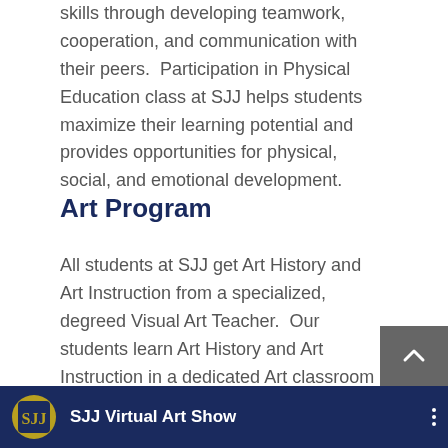skills through developing teamwork, cooperation, and communication with their peers.  Participation in Physical Education class at SJJ helps students maximize their learning potential and provides opportunities for physical, social, and emotional development.
Art Program
All students at SJJ get Art History and Art Instruction from a specialized, degreed Visual Art Teacher.  Our students learn Art History and Art Instruction in a dedicated Art classroom with special art tables and equipment.  All students receive weekly Art education.  Our students compete in Art Competitions and have won numerous awards for their artwork.
[Figure (screenshot): Video player bar with SJJ logo (gold and navy shield), title 'SJJ Virtual Art Show', and a three-dot menu icon on a dark navy background]